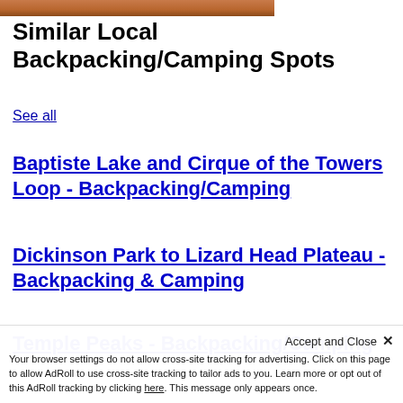[Figure (photo): Partial top strip of a reddish-brown rocky landscape photo]
Similar Local Backpacking/Camping Spots
See all
Baptiste Lake and Cirque of the Towers Loop - Backpacking/Camping
Dickinson Park to Lizard Head Plateau - Backpacking & Camping
Temple Peaks - Backpacking/Camping
Your browser settings do not allow cross-site tracking for advertising. Click on this page to allow AdRoll to use cross-site tracking to tailor ads to you. Learn more or opt out of this AdRoll tracking by clicking here. This message only appears once.